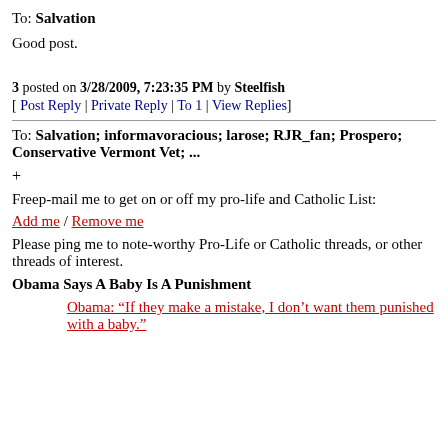To: Salvation
Good post.
3 posted on 3/28/2009, 7:23:35 PM by Steelfish
[ Post Reply | Private Reply | To 1 | View Replies]
To: Salvation; informavoracious; larose; RJR_fan; Prospero; Conservative Vermont Vet; ...
+
Freep-mail me to get on or off my pro-life and Catholic List:
Add me / Remove me
Please ping me to note-worthy Pro-Life or Catholic threads, or other threads of interest.
Obama Says A Baby Is A Punishment
Obama: “If they make a mistake, I don’t want them punished with a baby.”